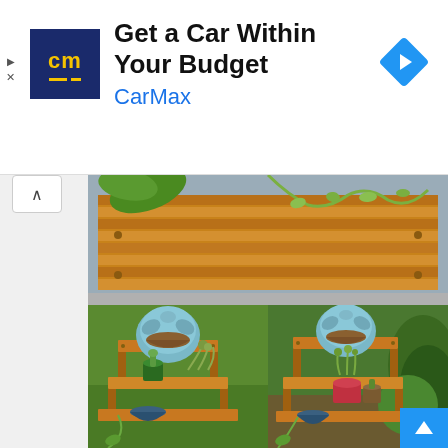[Figure (screenshot): Advertisement banner for CarMax: yellow 'cm' logo on dark blue background, text 'Get a Car Within Your Budget', brand name 'CarMax' in blue, blue navigation diamond icon with right arrow on right side]
[Figure (photo): Top photo: wooden pallet/planks laid flat outdoors with succulent plants and trailing herbs growing on top, viewed from above]
[Figure (photo): Bottom-left photo: wooden stepped plant stand with multiple levels, holding succulents in various pots including a large round succulent on top step, set on green grass backdrop]
[Figure (photo): Bottom-right photo: same wooden stepped plant stand with succulents from a slightly different angle, garden greenery visible in background]